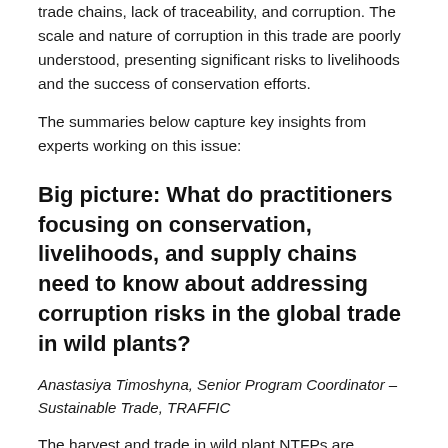trade chains, lack of traceability, and corruption. The scale and nature of corruption in this trade are poorly understood, presenting significant risks to livelihoods and the success of conservation efforts.
The summaries below capture key insights from experts working on this issue:
Big picture: What do practitioners focusing on conservation, livelihoods, and supply chains need to know about addressing corruption risks in the global trade in wild plants?
Anastasiya Timoshyna, Senior Program Coordinator – Sustainable Trade, TRAFFIC
The harvest and trade in wild plant NTFPs are essential to